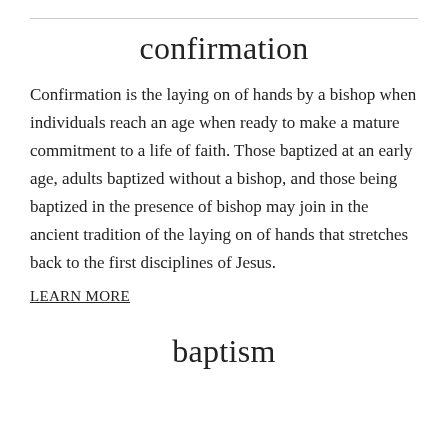confirmation
Confirmation is the laying on of hands by a bishop when individuals reach an age when ready to make a mature commitment to a life of faith. Those baptized at an early age, adults baptized without a bishop, and those being baptized in the presence of bishop may join in the ancient tradition of the laying on of hands that stretches back to the first disciplines of Jesus.
LEARN MORE
baptism